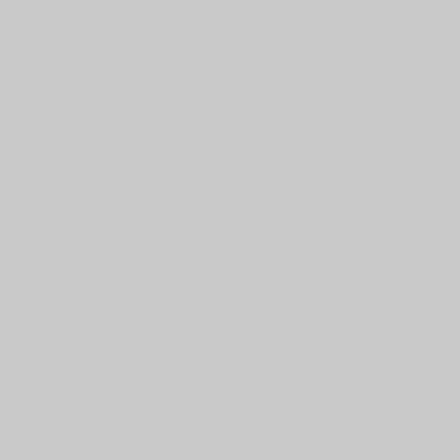and the acco materials re Ku Klux Kla Party, and th Greensboro Includes chr of activities informant Ec Dawson, AT Bernard But and District Michael Sch
Also of inter September about the bo Susan Ashb Jose, Calif., cousins died Jonestown.
Of note is a and emotio dated 17 Ap from Laurie Reston abou Father Who In it, Efrein a Reston of m and dehums